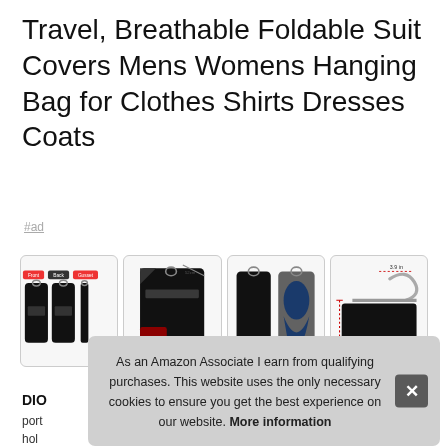Travel, Breathable Foldable Suit Covers Mens Womens Hanging Bag for Clothes Shirts Dresses Coats
#ad
[Figure (photo): Four product images of black garment/suit bags shown side by side in individual bordered boxes. First image shows three views (front, back, gusset) of a black folding garment bag. Second image shows the bag opened/unfolded with contents. Third image shows the bag holding a navy blue dress. Fourth image shows a close-up of the hanger hook mechanism with a measurement annotation.]
DIO
port
hol
and
garm
As an Amazon Associate I earn from qualifying purchases. This website uses the only necessary cookies to ensure you get the best experience on our website. More information